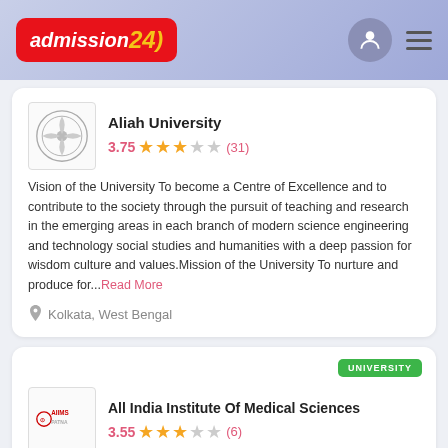[Figure (logo): Admission24 website header with logo, user icon and hamburger menu]
Aliah University
3.75 ★★★☆☆ (31)
Vision of the University To become a Centre of Excellence and to contribute to the society through the pursuit of teaching and research in the emerging areas in each branch of modern science engineering and technology social studies and humanities with a deep passion for wisdom culture and values.Mission of the University To nurture and produce for...Read More
Kolkata, West Bengal
All India Institute Of Medical Sciences
3.55 ★★★☆☆ (6)
Creating a country imbued with a scientific culture was Jawaharlal Nehru39s dream and immediately after independence he prepared a grand design to achieve it. Among the temples of